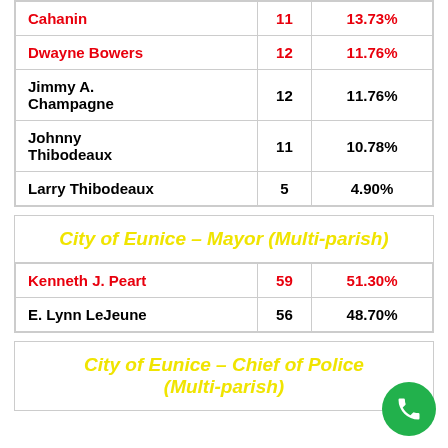| Candidate | Votes | Percentage |
| --- | --- | --- |
| Cahanin | 11 | 13.73% |
| Dwayne Bowers | 12 | 11.76% |
| Jimmy A. Champagne | 12 | 11.76% |
| Johnny Thibodeaux | 11 | 10.78% |
| Larry Thibodeaux | 5 | 4.90% |
City of Eunice – Mayor (Multi-parish)
| Candidate | Votes | Percentage |
| --- | --- | --- |
| Kenneth J. Peart | 59 | 51.30% |
| E. Lynn LeJeune | 56 | 48.70% |
City of Eunice – Chief of Police (Multi-parish)